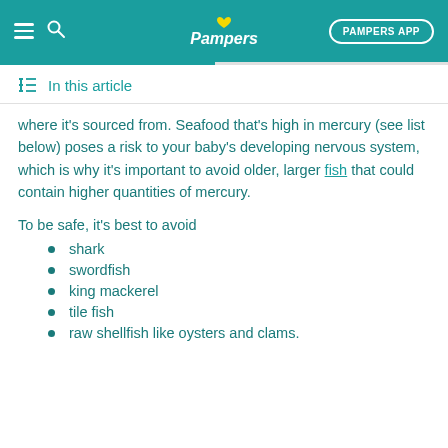Pampers — PAMPERS APP
In this article
where it's sourced from. Seafood that's high in mercury (see list below) poses a risk to your baby's developing nervous system, which is why it's important to avoid older, larger fish that could contain higher quantities of mercury.
To be safe, it's best to avoid
shark
swordfish
king mackerel
tile fish
raw shellfish like oysters and clams.